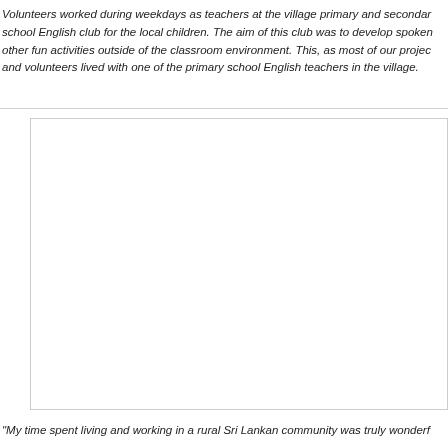Volunteers worked during weekdays as teachers at the village primary and secondary school English club for the local children. The aim of this club was to develop spoken other fun activities outside of the classroom environment. This, as most of our project and volunteers lived with one of the primary school English teachers in the village.
[Figure (photo): A photograph (partially visible/blank white area with border) occupying the middle section of the page.]
"My time spent living and working in a rural Sri Lankan community was truly wonderf...